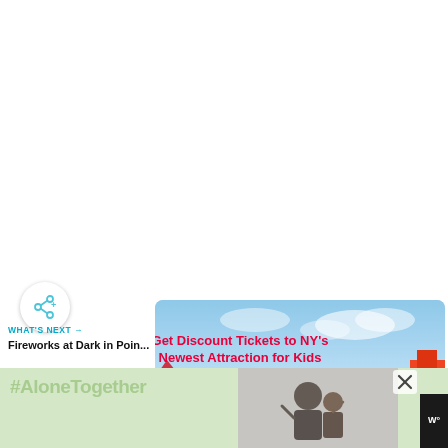[Figure (screenshot): Share button (circular white button with share/add icon in teal)]
WHAT'S NEXT →
Fireworks at Dark in Poin...
[Figure (photo): Fireworks circular thumbnail image]
[Figure (screenshot): Advertisement banner with blue sky background: 'Get Discount Tickets to NY's Newest Attraction for Kids' in red bold text, with colorful theme park imagery below]
[Figure (screenshot): Bottom advertisement bar with text '#AloneTogether' in light green, photo of man and child on right, close X button, and dark logo area]